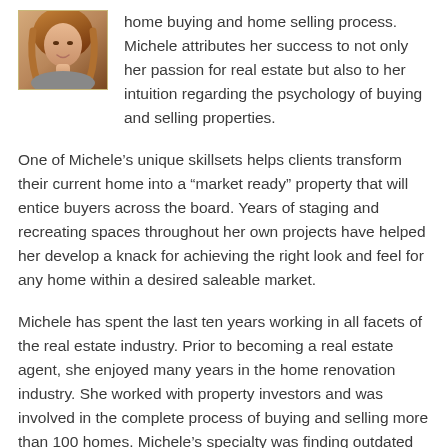[Figure (photo): Portrait photo of a woman with blonde/auburn hair, shown from shoulders up, framed with a gold/tan border.]
home buying and home selling process. Michele attributes her success to not only her passion for real estate but also to her intuition regarding the psychology of buying and selling properties.
One of Michele’s unique skillsets helps clients transform their current home into a “market ready” property that will entice buyers across the board. Years of staging and recreating spaces throughout her own projects have helped her develop a knack for achieving the right look and feel for any home within a desired saleable market.
Michele has spent the last ten years working in all facets of the real estate industry. Prior to becoming a real estate agent, she enjoyed many years in the home renovation industry. She worked with property investors and was involved in the complete process of buying and selling more than 100 homes. Michele’s specialty was finding outdated properties and overseeing the renovation and transformation process of